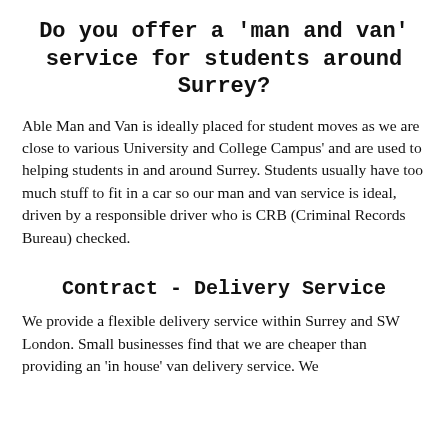Do you offer a 'man and van' service for students around Surrey?
Able Man and Van is ideally placed for student moves as we are close to various University and College Campus' and are used to helping students in and around Surrey. Students usually have too much stuff to fit in a car so our man and van service is ideal, driven by a responsible driver who is CRB (Criminal Records Bureau) checked.
Contract - Delivery Service
We provide a flexible delivery service within Surrey and SW London. Small businesses find that we are cheaper than providing an 'in house' van delivery service. We